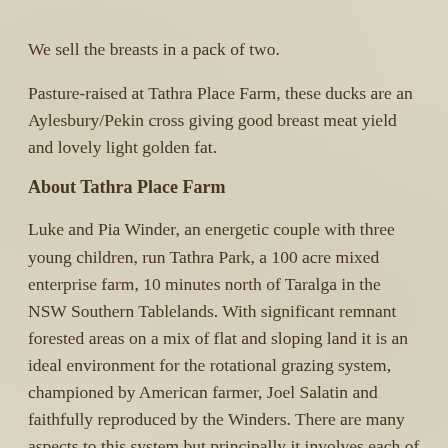We sell the breasts in a pack of two.
Pasture-raised at Tathra Place Farm, these ducks are an Aylesbury/Pekin cross giving good breast meat yield and lovely light golden fat.
About Tathra Place Farm
Luke and Pia Winder, an energetic couple with three young children, run Tathra Park, a 100 acre mixed enterprise farm, 10 minutes north of Taralga in the NSW Southern Tablelands. With significant remnant forested areas on a mix of flat and sloping land it is an ideal environment for the rotational grazing system, championed by American farmer, Joel Salatin and faithfully reproduced by the Winders. There are many aspects to this system but principally it involves each of the different species spending limited time in any one paddock, and then having that paddock left for extended rest periods of 4 - 10 months to allow for re-sowing and pasture recovery.